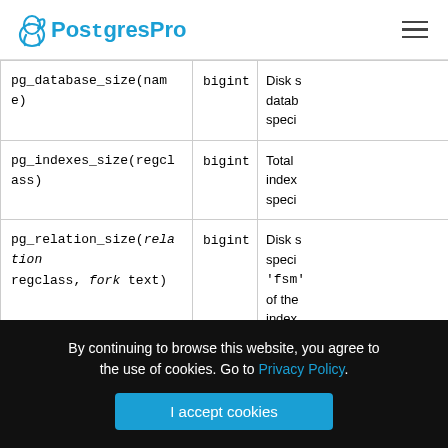PostgresPro
| Function | Return Type | Description |
| --- | --- | --- |
| pg_database_size(name) | bigint | Disk s... datab... speci... |
| pg_indexes_size(regclass) | bigint | Total index... speci... |
| pg_relation_size(relation regclass, fork text) | bigint | Disk s... speci... 'fsm'... of the... index... |
By continuing to browse this website, you agree to the use of cookies. Go to Privacy Policy.
I accept cookies